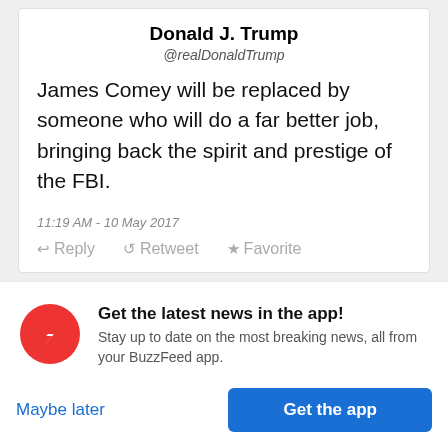Donald J. Trump
@realDonaldTrump
James Comey will be replaced by someone who will do a far better job, bringing back the spirit and prestige of the FBI.
11:19 AM - 10 May 2017
↩ Reply  ↺ Retweet  ★ Favorite
Comey was appointed by then-president Barack
Get the latest news in the app! Stay up to date on the most breaking news, all from your BuzzFeed app.
Maybe later
Get the app